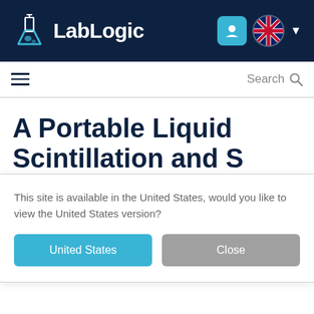LabLogic
A Portable Liquid Scintillation and S...
This site is available in the United States, would you like to view the United States version?
United States
Close